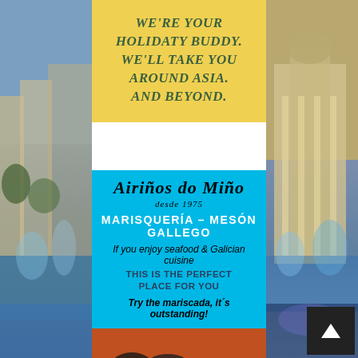[Figure (photo): Left and right side background city/fountain photos flanking the central content column]
[Figure (infographic): Yellow banner ad: We're your holidaty buddy. We'll take you around Asia. And beyond.]
We're your holidaty buddy. We'll take you around Asia. And beyond.
[Figure (infographic): Blue restaurant advertisement for Airiños do Miño, desde 1975, Marisquería – Mesón Gallego. Text: If you enjoy seafood & Galician cuisine THIS IS THE PERFECT PLACE FOR YOU. Try the mariscada, it´s outstanding! SPECIALTIES]
Airiños do Miño
desde 1975
MARISQUERÍA – MESÓN GALLEGO
If you enjoy seafood & Galician cuisine
THIS IS THE PERFECT PLACE FOR YOU
Try the mariscada, it´s outstanding!
[Figure (photo): Close-up photo of seafood including shrimp, mussels, and other shellfish]
SPECIALTIES